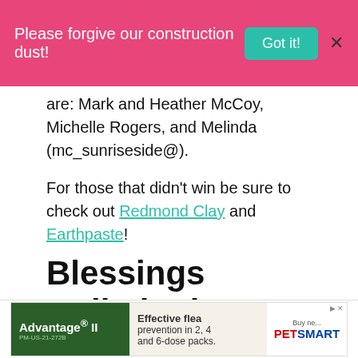[Figure (other): Pink notification banner with text 'Please forgive our construction dust!', a teal 'Got it!' button, and an X close button]
are: Mark and Heather McCoy, Michelle Rogers, and Melinda (mc_sunriseside@).
For those that didn’t win be sure to check out Redmond Clay and Earthpaste!
Blessings Unlimited
The winner of the $75 Gift Certificate to Blessings Unlimited is Laura Elley. Congratulations, Laura!
[Figure (other): Advertisement banner: Advantage II flea prevention ad on left (green background), center text 'Effective flea prevention in 2, 4 and 6-dose packs.', PetSmart logo on right]